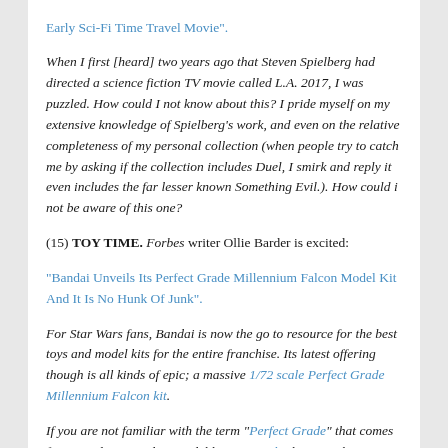Early Sci-Fi Time Travel Movie".
When I first [heard] two years ago that Steven Spielberg had directed a science fiction TV movie called L.A. 2017, I was puzzled. How could I not know about this? I pride myself on my extensive knowledge of Spielberg's work, and even on the relative completeness of my personal collection (when people try to catch me by asking if the collection includes Duel, I smirk and reply it even includes the far lesser known Something Evil.). How could i not be aware of this one?
(15) TOY TIME. Forbes writer Ollie Barder is excited:
“Bandai Unveils Its Perfect Grade Millennium Falcon Model Kit And It Is No Hunk Of Junk".
For Star Wars fans, Bandai is now the go to resource for the best toys and model kits for the entire franchise. Its latest offering though is all kinds of epic; a massive 1/72 scale Perfect Grade Millennium Falcon kit.
If you are not familiar with the term “Perfect Grade” that comes from Bandai’s Gundam model kit, or gunpla, line. It’s the